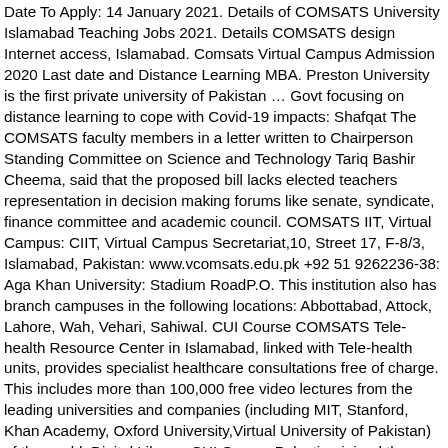Date To Apply: 14 January 2021. Details of COMSATS University Islamabad Teaching Jobs 2021. Details COMSATS design Internet access, Islamabad. Comsats Virtual Campus Admission 2020 Last date and Distance Learning MBA. Preston University is the first private university of Pakistan … Govt focusing on distance learning to cope with Covid-19 impacts: Shafqat The COMSATS faculty members in a letter written to Chairperson Standing Committee on Science and Technology Tariq Bashir Cheema, said that the proposed bill lacks elected teachers representation in decision making forums like senate, syndicate, finance committee and academic council. COMSATS IIT, Virtual Campus: CIIT, Virtual Campus Secretariat,10, Street 17, F-8/3, Islamabad, Pakistan: www.vcomsats.edu.pk +92 51 9262236-38: Aga Khan University: Stadium RoadP.O. This institution also has branch campuses in the following locations: Abbottabad, Attock, Lahore, Wah, Vehari, Sahiwal. CUI Course COMSATS Tele-health Resource Center in Islamabad, linked with Tele-health units, provides specialist healthcare consultations free of charge. This includes more than 100,000 free video lectures from the leading universities and companies (including MIT, Stanford, Khan Academy, Oxford University,Virtual University of Pakistan) of the world. Digital Library, CUI Course Palestine joined the COMSATS as its 23rd member state in October 2015. This is also one … CUI Virtual Campus degree is only a click away. Virtual University of Pakistan (VU) When it comes to distance learning courses in Pakistan, the first … Read the complete detail on Parho Pakistan page to understand the jobs and